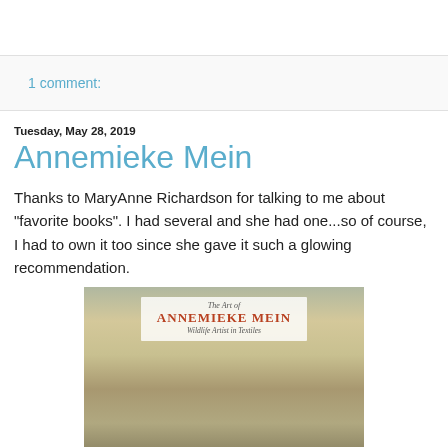1 comment:
Tuesday, May 28, 2019
Annemieke Mein
Thanks to MaryAnne Richardson for talking to me about "favorite books". I had several and she had one...so of course, I had to own it too since she gave it such a glowing recommendation.
[Figure (photo): Photo of the book cover 'The Art of Annemieke Mein: Wildlife Artist in Textiles' showing textile artwork of a butterfly or moth on the cover]